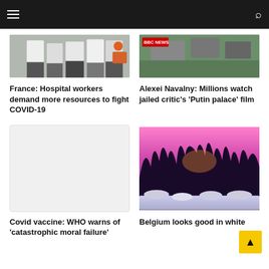BBC News navigation header with hamburger menu and search icon
[Figure (photo): Partial top of image showing hospital workers in white coats]
[Figure (photo): Aerial view with BBC News logo overlay]
France: Hospital workers demand more resources to fight COVID-19
Alexei Navalny: Millions watch jailed critic's 'Putin palace' film
[Figure (photo): Placeholder light grey image]
[Figure (photo): Purple/pink winter forest landscape with snow on ground and colorful sunset sky]
Covid vaccine: WHO warns of 'catastrophic moral failure'
Belgium looks good in white